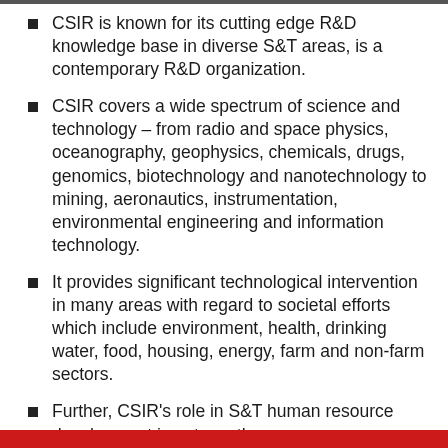CSIR is known for its cutting edge R&D knowledge base in diverse S&T areas, is a contemporary R&D organization.
CSIR covers a wide spectrum of science and technology – from radio and space physics, oceanography, geophysics, chemicals, drugs, genomics, biotechnology and nanotechnology to mining, aeronautics, instrumentation, environmental engineering and information technology.
It provides significant technological intervention in many areas with regard to societal efforts which include environment, health, drinking water, food, housing, energy, farm and non-farm sectors.
Further, CSIR's role in S&T human resource development is noteworthy.